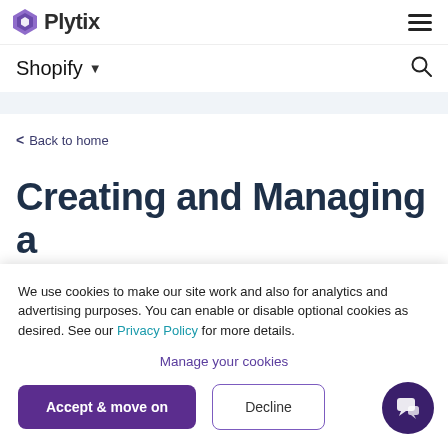Plytix
Shopify
Back to home
Creating and Managing a Shopify Channel
We use cookies to make our site work and also for analytics and advertising purposes. You can enable or disable optional cookies as desired. See our Privacy Policy for more details.
Manage your cookies
Accept & move on
Decline